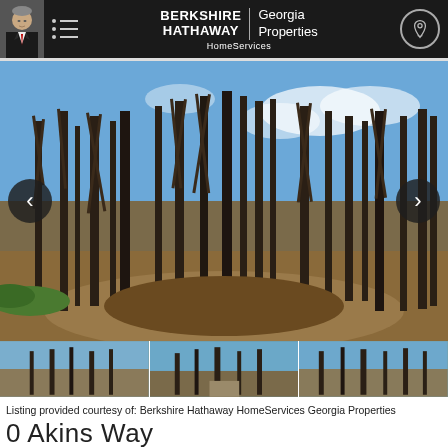[Figure (logo): Berkshire Hathaway HomeServices Georgia Properties header logo with agent photo and navigation menu]
[Figure (photo): Outdoor wooded lot photo showing bare winter trees, blue sky, and leaf-covered ground. Navigation arrows on left and right sides.]
[Figure (photo): Three thumbnail images of the same wooded lot property in a horizontal strip]
Listing provided courtesy of: Berkshire Hathaway HomeServices Georgia Properties
0 Akins Way